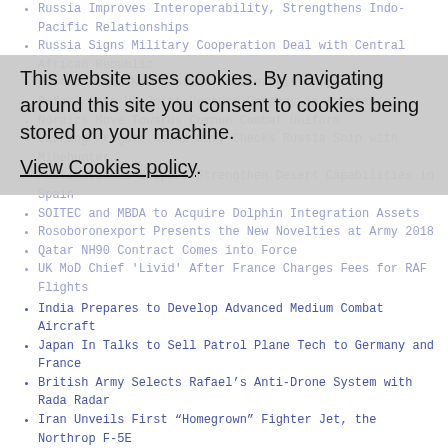Russia Improves Interoperability, Strengthens Indo-Pacific Relationships
Russia Signs Military Cooperation Deal with Central African Republic
Rostec Demos New Russian Soldier Kit Components
Rafael Sets Up Joint Venture Company in Australia
Nordics Move Towards Common Combat Uniform
Lacking Frigate Royal Navy Checks Russia Ship with Minehunter
Multinational Snipers Strengthen Desert Capabilities in Spain
SOITEC and MBDA to Acquire Dolphin Integration Assets
Rosoboronexport Presents the New Novelties at Army 2018
Qatar NH90 Contract Comes into Force
UK MoD Chief 'Livid' After France Charges Fees for RAF Flights
India Prepares to Develop Advanced Medium Combat Aircraft
Japan In Talks to Sell Patrol Plane Tech to Germany and France
British Army Selects Rafael’s Anti-Drone System with Rada Radar
Iran Unveils First “Homegrown” Fighter Jet, the Northrop F-5E
Russia to Sign Contract for Su-57 Fighters By End of Summer
German Army Shows Off Ailing NATO Helicopter
US Marines 3D-Print F-35 Part to Save $70,000 Charged by Lockheed
Babcock Wins 5-Year Maritime Training Systems Support Contract
BAE Wins $71M for Afghanistan Intel Services
Rockwell Wins $288M for AN/ARC-210 Radios
BAE Wins $151M for USS Gettysburg Modernization
GA Wins $134M to Add Missile Defense Sensor to MQ-9 UAV
Cammell Laird Builds Supply Chain for New Frigate Bid
Royal Navy Accepts New Thales Mine Hunting Sonar
US, Iraq, Kuwait Complete Trilateral Exercise
HMS Argyll Takes Up Role as Part of CTF150
This website uses cookies. By navigating around this site you consent to cookies being stored on your machine.
View Cookies policy.